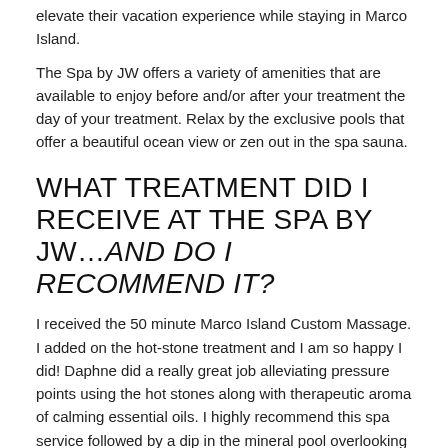elevate their vacation experience while staying in Marco Island.
The Spa by JW offers a variety of amenities that are available to enjoy before and/or after your treatment the day of your treatment. Relax by the exclusive pools that offer a beautiful ocean view or zen out in the spa sauna.
WHAT TREATMENT DID I RECEIVE AT THE SPA BY JW…AND DO I RECOMMEND IT?
I received the 50 minute Marco Island Custom Massage. I added on the hot-stone treatment and I am so happy I did! Daphne did a really great job alleviating pressure points using the hot stones along with therapeutic aroma of calming essential oils. I highly recommend this spa service followed by a dip in the mineral pool overlooking the Gulf of Mexico.
Discover the FULL SPA MENU HERE.
WHEN IS A GOOD TIME TO BOOK